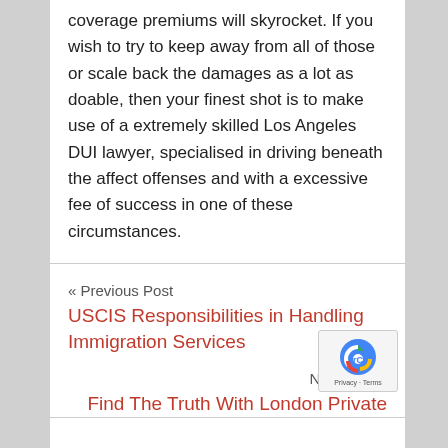coverage premiums will skyrocket. If you wish to try to keep away from all of those or scale back the damages as a lot as doable, then your finest shot is to make use of a extremely skilled Los Angeles DUI lawyer, specialised in driving beneath the affect offenses and with a excessive fee of success in one of these circumstances.
« Previous Post
USCIS Responsibilities in Handling Immigration Services
Next Post »
Find The Truth With London Private Investigate